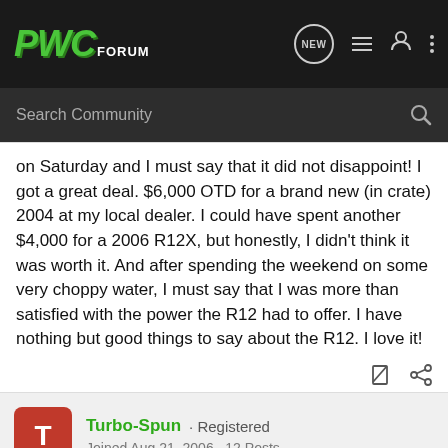PWC Forum
on Saturday and I must say that it did not disappoint! I got a great deal. $6,000 OTD for a brand new (in crate) 2004 at my local dealer. I could have spent another $4,000 for a 2006 R12X, but honestly, I didn't think it was worth it. And after spending the weekend on some very choppy water, I must say that I was more than satisfied with the power the R12 had to offer. I have nothing but good things to say about the R12. I love it!
Turbo-Spun · Registered
Joined Aug 21, 2006 · 12 Posts